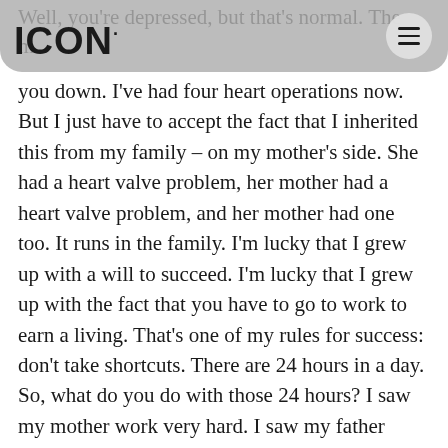ICON·
Well, you're depressed, but that's normal. The m you down. I've had four heart operations now. But I just have to accept the fact that I inherited this from my family – on my mother's side. She had a heart valve problem, her mother had a heart valve problem, and her mother had one too. It runs in the family. I'm lucky that I grew up with a will to succeed. I'm lucky that I grew up with the fact that you have to go to work to earn a living. That's one of my rules for success: don't take shortcuts. There are 24 hours in a day. So, what do you do with those 24 hours? I saw my mother work very hard. I saw my father work very hard. I saw the neighbours working very hard to save the farm on the other side. That's how I grew up. And that's what I'm used to. I'm glad that I got a good education. I'm glad my parents inspired me to be